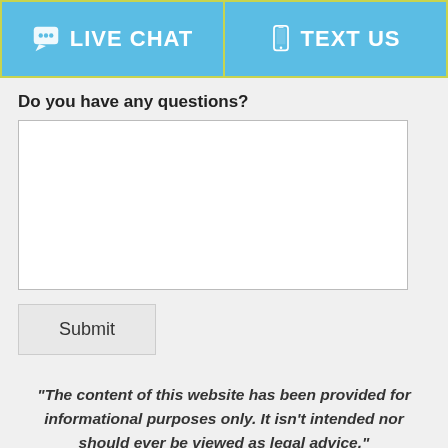[Figure (screenshot): Header bar with two buttons: LIVE CHAT (left, with chat bubble icon) and TEXT US (right, with phone icon), both on blue background with yellow-green border]
Do you have any questions?
[Figure (other): Large empty textarea form field for user input]
[Figure (other): Submit button]
“The content of this website has been provided for informational purposes only. It isn’t intended nor should ever be viewed as legal advice.”